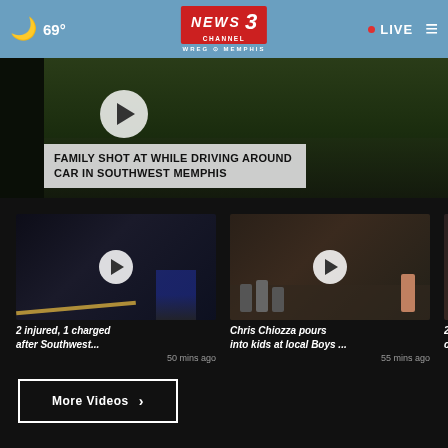69° NEWS CHANNEL 3 WREG MEMPHIS • LIVE
[Figure (screenshot): Hero video thumbnail showing outdoor night scene with grass, police tape. Play button visible. Headline: FAMILY SHOT AT WHILE DRIVING AROUND CAR IN SOUTHWEST MEMPHIS]
FAMILY SHOT AT WHILE DRIVING AROUND CAR IN SOUTHWEST MEMPHIS
[Figure (screenshot): Video thumbnail: dark night scene with police lights and crime tape, play button overlay]
2 injured, 1 charged after Southwest...
50 mins ago
[Figure (screenshot): Video thumbnail: indoor scene with group of people/children seated, play button overlay]
Chris Chiozza pours into kids at local Boys ...
55 mins ago
[Figure (screenshot): Partial video thumbnail, partially cut off]
2-year charg
More Videos ›